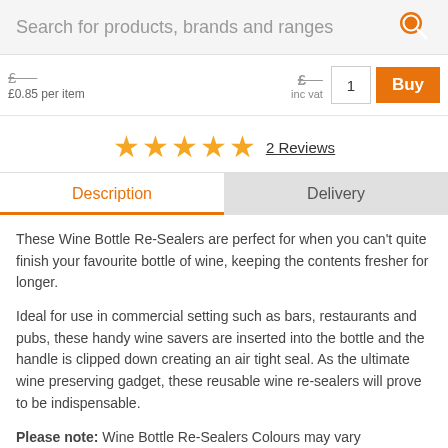Search for products, brands and ranges
£0.85 per item | inc vat | 1 | Buy
★★★★★ 2 Reviews
Description | Delivery
These Wine Bottle Re-Sealers are perfect for when you can't quite finish your favourite bottle of wine, keeping the contents fresher for longer.
Ideal for use in commercial setting such as bars, restaurants and pubs, these handy wine savers are inserted into the bottle and the handle is clipped down creating an air tight seal. As the ultimate wine preserving gadget, these reusable wine re-sealers will prove to be indispensable.
Please note: Wine Bottle Re-Sealers Colours may vary